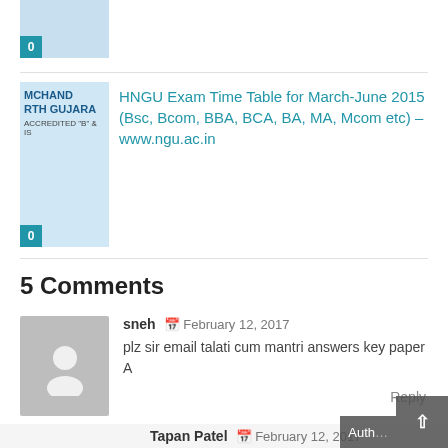[Figure (photo): Thumbnail image of a university logo/seal with a blue badge showing '0']
[Figure (photo): HNGU (Hemchandracharya North Gujarat University) logo thumbnail with text 'MCHAND', 'RTH GUJARA', 'ACCREDITED B & IS' and blue badge showing '0']
HNGU Exam Time Table for March-June 2015 (Bsc, Bcom, BBA, BCA, BA, MA, Mcom etc) – www.ngu.ac.in
5 Comments
sneh  February 12, 2017
plz sir email talati cum mantri answers key paper A
Reply
Tapan Patel  February 12, 2017